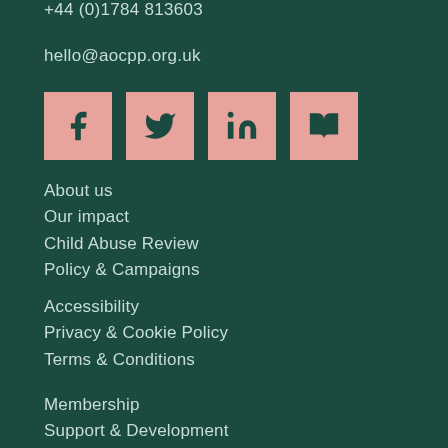+44 (0)1784 813603
hello@aocpp.org.uk
[Figure (infographic): Four social media icon buttons (Facebook, Twitter, LinkedIn, and a book/reading icon) in salmon/pink color with dark teal icons]
About us
Our impact
Child Abuse Review
Policy & Campaigns
Accessibility
Privacy & Cookie Policy
Terms & Conditions
Membership
Support & Development
Shop